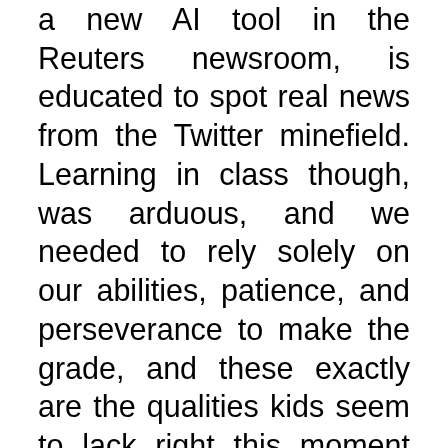a new AI tool in the Reuters newsroom, is educated to spot real news from the Twitter minefield. Learning in class though, was arduous, and we needed to rely solely on our abilities, patience, and perseverance to make the grade, and these exactly are the qualities kids seem to lack right this moment because of new technology. Looking at it this way, it looks like a little assist from extraterrestrial technology would have been welcome. Any resolution on a technology and how it will likely be used to society will profit members of one group while hurting members of another group and individuals need